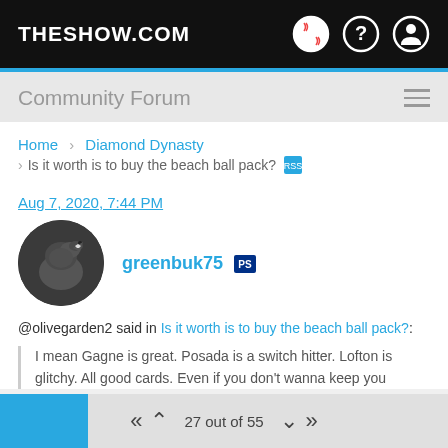THESHOW.COM
Community Forum
Home > Diamond Dynasty > Is it worth is to buy the beach ball pack?
Aug 7, 2020, 7:44 PM
greenbuk75
@olivegarden2 said in Is it worth is to buy the beach ball pack?:
I mean Gagne is great. Posada is a switch hitter. Lofton is glitchy. All good cards. Even if you don't wanna keep you
27 out of 55